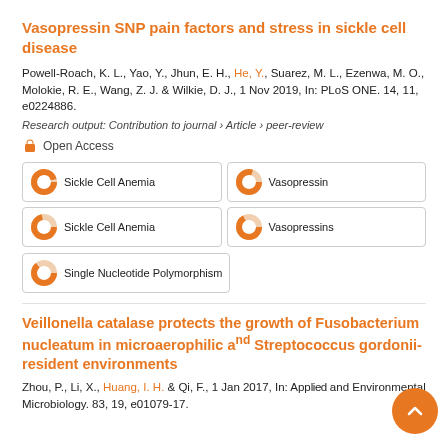Vasopressin SNP pain factors and stress in sickle cell disease
Powell-Roach, K. L., Yao, Y., Jhun, E. H., He, Y., Suarez, M. L., Ezenwa, M. O., Molokie, R. E., Wang, Z. J. & Wilkie, D. J., 1 Nov 2019, In: PLoS ONE. 14, 11, e0224886.
Research output: Contribution to journal › Article › peer-review
Open Access
Sickle Cell Anemia
Vasopressin
Sickle Cell Anemia
Vasopressins
Single Nucleotide Polymorphism
Veillonella catalase protects the growth of Fusobacterium nucleatum in microaerophilic and Streptococcus gordonii-resident environments
Zhou, P., Li, X., Huang, I. H. & Qi, F., 1 Jan 2017, In: Applied and Environmental Microbiology. 83, 19, e01079-17.